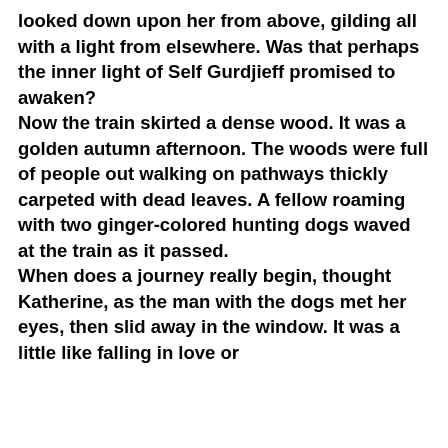looked down upon her from above, gilding all with a light from elsewhere. Was that perhaps the inner light of Self Gurdjieff promised to awaken?
Now the train skirted a dense wood. It was a golden autumn afternoon. The woods were full of people out walking on pathways thickly carpeted with dead leaves. A fellow roaming with two ginger-colored hunting dogs waved at the train as it passed.
When does a journey really begin, thought Katherine, as the man with the dogs met her eyes, then slid away in the window. It was a little like falling in love or
Privacy & Cookies: This site uses cookies. By continuing to use this website, you agree to their use.
To find out more, including how to control cookies, see here: Cookie Policy